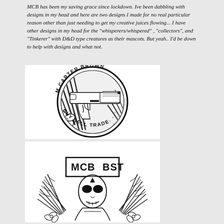MCB has been my saving grace since lockdown. Ive been dabbling with designs in my head and here are two designs I made for no real particular reason other than just needing to get my creative juices flowing... I have other designs in my head for the "whisperers/whispered" , "collectors", and "Tinkerer" with D&D type creatures as their mascots. But yeah.. I'd be down to help with designs and what not.
[Figure (illustration): Circular black and white logo reading 'M. CARTER BROWN' on top arc and 'BUY SELL TRADE' on bottom arc, with a handgun, hibiscus flowers, palm/tropical leaves, and decorative textures inside.]
[Figure (illustration): Black and white logo with 'MCB BST' text in a rectangular banner, featuring an alien/skull figure in the center, flanked by palm fronds and hibiscus flowers.]